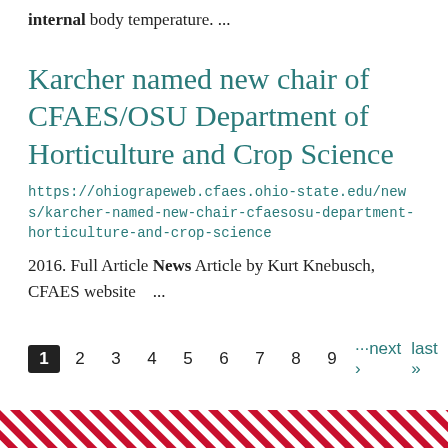internal body temperature. ...
Karcher named new chair of CFAES/OSU Department of Horticulture and Crop Science
https://ohiograpeweb.cfaes.ohio-state.edu/news/karcher-named-new-chair-cfaesosu-department-horticulture-and-crop-science
2016. Full Article News Article by Kurt Knebusch, CFAES website ...
1 2 3 4 5 6 7 8 9 ···next › last »